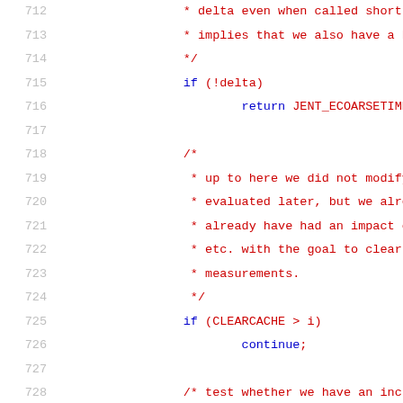712   * delta even when called short
713   * implies that we also have a b
714   */
715   if (!delta)
716         return JENT_ECOARSETIME
717
718   /*
719   * up to here we did not modify
720   * evaluated later, but we alrea
721   * already have had an impact on
722   * etc. with the goal to clear t
723   * measurements.
724   */
725   if (CLEARCACHE > i)
726         continue;
727
728   /* test whether we have an incre
729   if (!(time2 > time))
730         time_backwards++;
731
732   /*
733   * Avoid modulo of 64 bit integ